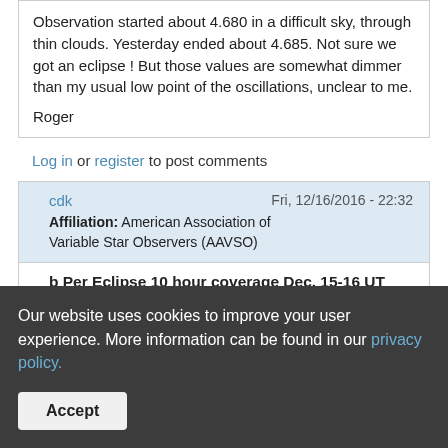Observation started about 4.680 in a difficult sky, through thin clouds. Yesterday ended about 4.685. Not sure we got an eclipse ! But those values are somewhat dimmer than my usual low point of the oscillations, unclear to me.
Roger
Log in or register to post comments
cdk
Affiliation: American Association of Variable Star Observers (AAVSO)
Fri, 12/16/2016 - 22:32
b Per Eclipse 10 hour coverage Dec. 15-16 UT
Our website uses cookies to improve your user experience. More information can be found in our privacy policy.
Accept